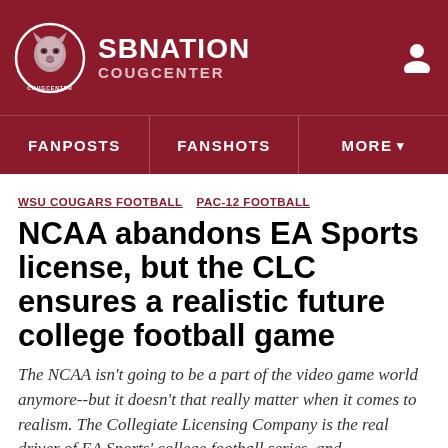SBNATION COUGCENTER
FANPOSTS   FANSHOTS   MORE
WSU COUGARS FOOTBALL   PAC-12 FOOTBALL
NCAA abandons EA Sports license, but the CLC ensures a realistic future college football game
The NCAA isn't going to be a part of the video game world anymore--but it doesn't that really matter when it comes to realism. The Collegiate Licensing Company is the real driver of EA Sports' college football series, and